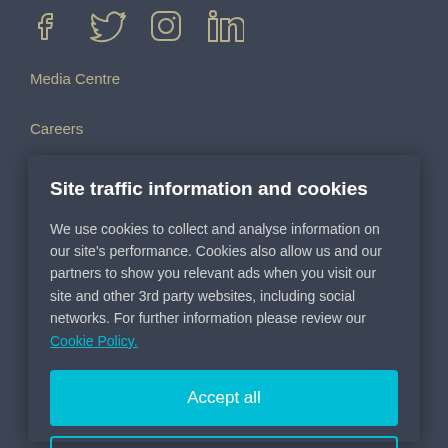[Figure (logo): Social media icons: Facebook, Twitter, Instagram, LinkedIn rendered in light outline style on dark background]
Media Centre
Careers
Site traffic information and cookies
We use cookies to collect and analyse information on our site's performance. Cookies also allow us and our partners to show you relevant ads when you visit our site and other 3rd party websites, including social networks. For further information please review our Cookie Policy.
Accept all
Cookie settings